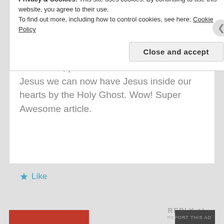Very Powerful, Sir. This also explains why bad things happen to good people. They didn't cry out for help, they didn't reach out to Jesus. They kept silent. Thank Goodness, post the death & resurrection of Jesus we can now have Jesus inside our hearts by the Holy Ghost. Wow! Super Awesome article.
★ Like
REPLY ↩
Privacy & Cookies: This site uses cookies. By continuing to use this website, you agree to their use.
To find out more, including how to control cookies, see here: Cookie Policy
Close and accept